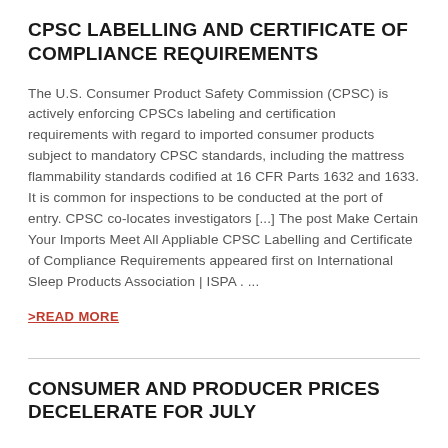CPSC LABELLING AND CERTIFICATE OF COMPLIANCE REQUIREMENTS
The U.S. Consumer Product Safety Commission (CPSC) is actively enforcing CPSCs labeling and certification requirements with regard to imported consumer products subject to mandatory CPSC standards, including the mattress flammability standards codified at 16 CFR Parts 1632 and 1633. It is common for inspections to be conducted at the port of entry. CPSC co-locates investigators [...] The post Make Certain Your Imports Meet All Appliable CPSC Labelling and Certificate of Compliance Requirements appeared first on International Sleep Products Association | ISPA . ...
>READ MORE
CONSUMER AND PRODUCER PRICES DECELERATE FOR JULY